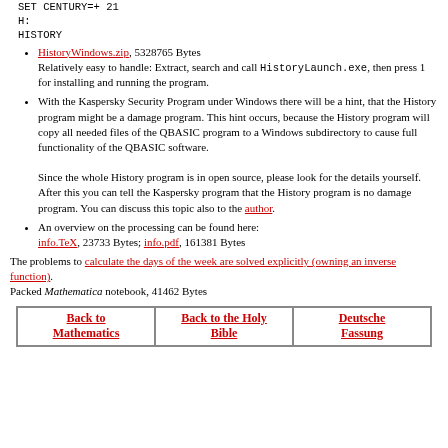SET CENTURY=+ 21
H:
HISTORY
HistoryWindows.zip, 5328765 Bytes
Relatively easy to handle: Extract, search and call HistoryLaunch.exe, then press 1 for installing and running the program.
With the Kaspersky Security Program under Windows there will be a hint, that the History program might be a damage program. This hint occurs, because the History program will copy all needed files of the QBASIC program to a Windows subdirectory to cause full functionality of the QBASIC software.
Since the whole History program is in open source, please look for the details yourself. After this you can tell the Kaspersky program that the History program is no damage program. You can discuss this topic also to the author.
An overview on the processing can be found here: info.TeX, 23733 Bytes; info.pdf, 161381 Bytes
The problems to calculate the days of the week are solved explicitly (owning an inverse function).
Packed Mathematica notebook, 41462 Bytes
| Back to Mathematics | Back to the Holy Bible | Deutsche Fassung |
| --- | --- | --- |